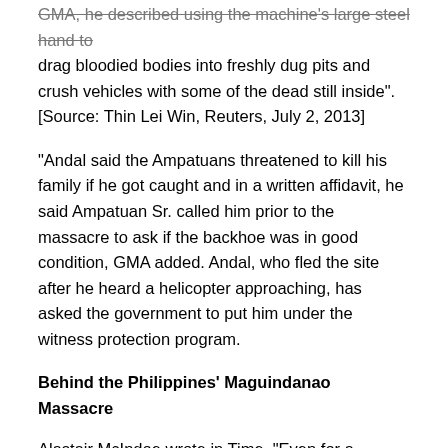GMA, he described using the machine's large steel hand to drag bloodied bodies into freshly dug pits and crush vehicles with some of the dead still inside". [Source: Thin Lei Win, Reuters, July 2, 2013]
“Andal said the Ampatuans threatened to kill his family if he got caught and in a written affidavit, he said Ampatuan Sr. called him prior to the massacre to ask if the backhoe was in good condition, GMA added. Andal, who fled the site after he heard a helicopter approaching, has asked the government to put him under the witness protection program.
Behind the Philippines’ Maguindanao Massacre
Alastair McIndoe wrote in Time, “Even for a country long hardened to election violence, the massacre of at least 57 defenseless civilians sets a new low.